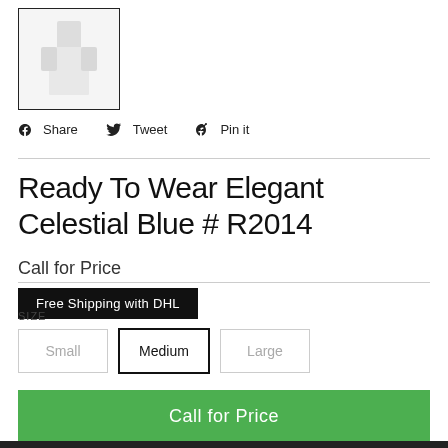[Figure (photo): Small thumbnail image of a white/light-colored garment on white background with black border]
Share  Tweet  Pin it
Ready To Wear Elegant Celestial Blue # R2014
Call for Price
Free Shipping with DHL
SIZE
Small
Medium
Large
Call for Price